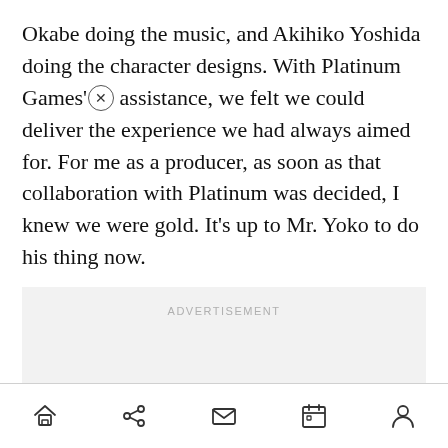Okabe doing the music, and Akihiko Yoshida doing the character designs. With Platinum Games' assistance, we felt we could deliver the experience we had always aimed for. For me as a producer, as soon as that collaboration with Platinum was decided, I knew we were gold. It's up to Mr. Yoko to do his thing now.
[Figure (other): Advertisement placeholder box with light gray background and 'ADVERTISEMENT' label in small gray uppercase letters]
Navigation bar with home, share, mail, calendar, and profile icons